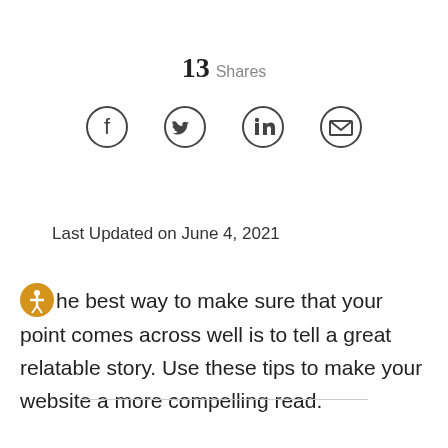13 Shares
[Figure (infographic): Social share icons: Facebook, Twitter, LinkedIn, Email]
Last Updated on June 4, 2021
The best way to make sure that your point comes across well is to tell a great relatable story. Use these tips to make your website a more compelling read.